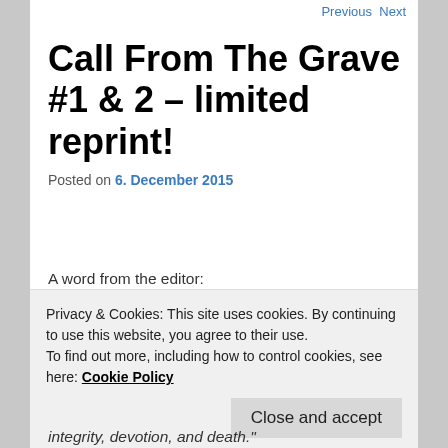Previous · Next
Call From The Grave #1 & 2 – limited reprint!
Posted on 6. December 2015
A word from the editor:
" Finally, the European reprint of both issues of CALL FROM THE GRAVE zine is here! In the zine community of editors and readers, there are those that hunger for a deeper approach. These days, bland questions about integrity, devotion, and death."
Privacy & Cookies: This site uses cookies. By continuing to use this website, you agree to their use.
To find out more, including how to control cookies, see here: Cookie Policy
Close and accept